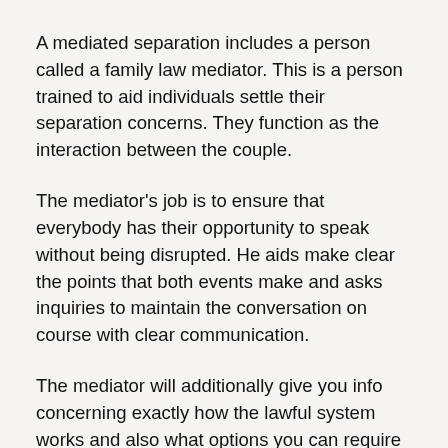A mediated separation includes a person called a family law mediator. This is a person trained to aid individuals settle their separation concerns. They function as the interaction between the couple.
The mediator's job is to ensure that everybody has their opportunity to speak without being disrupted. He aids make clear the points that both events make and asks inquiries to maintain the conversation on course with clear communication.
The mediator will additionally give you info concerning exactly how the lawful system works and also what options you can require to avoid them.